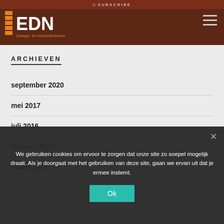SUBSCRIBE | EDN Garage- en industriedeuren
ARCHIEVEN
september 2020
mei 2017
juli 2016
februari 2015
maart 2014
We gebruiken cookies om ervoor te zorgen dat onze site zo soepel mogelijk draait. Als je doorgaat met het gebruiken van deze site, gaan we ervan uit dat je ermee instemt.
Ok